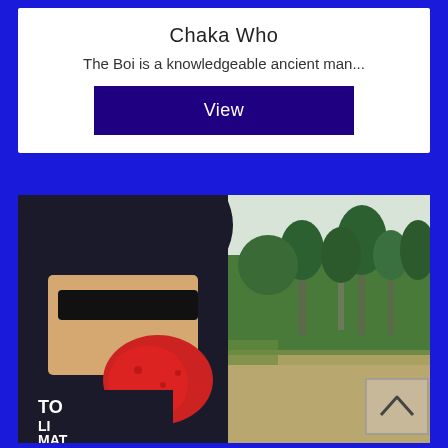Chaka Who
The Boi is a knowledgeable ancient man...
View
[Figure (photo): Person wearing a black hoodie pulled over face with red bandana/neckerchief, wearing a dark sweatshirt with partial text 'TO LI MAT' visible, standing outdoors with evergreen trees and dry grass field in background. A scroll-up button with chevron is visible in the lower right corner of the photo.]